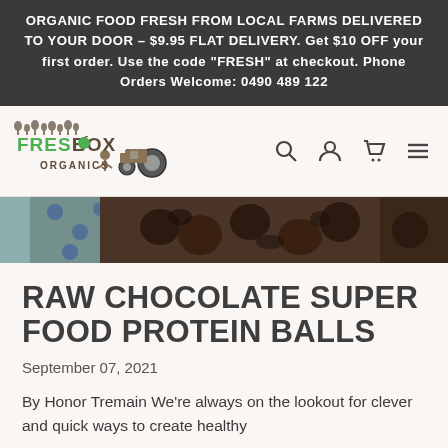ORGANIC FOOD FRESH FROM LOCAL FARMS DELIVERED TO YOUR DOOR – $9.95 FLAT DELIVERY. Get $10 OFF your first order. Use the code "FRESH" at checkout. Phone Orders Welcome: 0490 489 122
[Figure (logo): FreshBox Organics logo with tractor illustration and green text]
[Figure (photo): Close-up photo of chocolate protein balls in a bowl]
RAW CHOCOLATE SUPER FOOD PROTEIN BALLS
September 07, 2021
By Honor Tremain We're always on the lookout for clever and quick ways to create healthy